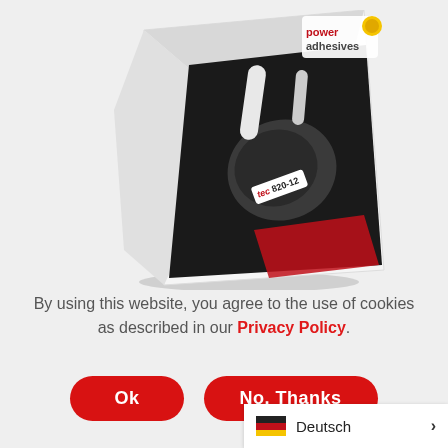[Figure (illustration): Power Adhesives product brochure showing a tec 820-12 hot glue gun on a dark background with the Power Adhesives logo in the top right corner of the brochure cover.]
By using this website, you agree to the use of cookies as described in our Privacy Policy.
Ok
No, Thanks
Deutsch